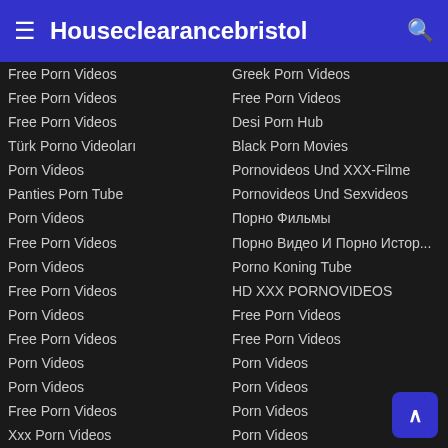≡ Houseclearancebristol 🔍
Free Porn Videos
Free Porn Videos
Free Porn Videos
Türk Porno Videoları
Porn Videos
Panties Porn Tube
Porn Videos
Free Porn Videos
Porn Videos
Free Porn Videos
Porn Videos
Free Porn Videos
Porn Videos
Porn Videos
Free Porn Videos
Xxx Porn Videos
Porn Videos
Porn Tube
Porn Videos
Free Porn Videos Tube
Greek Porn Videos
Free Porn Videos
Desi Porn Hub
Black Porn Movies
Pornovideos Und XXX-Filme
Pornovideos Und Sexvideos
Порно Фильмы
Порно Видео И Порно Истор...
Porno Koning Tube
HD XXX PORNOVIDEOS
Free Porn Videos
Free Porn Videos
Porn Videos
Porn Videos
Porn Videos
Porn Videos
Free Porn Videos
Xxx Porn Movies
Porn Tube
Free PORN Videos